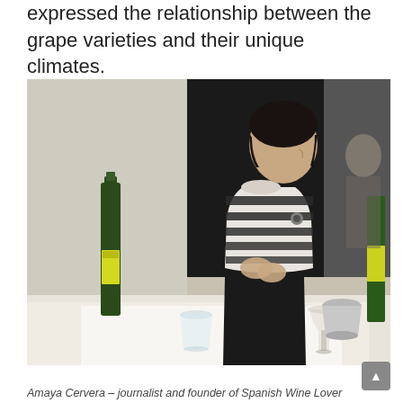expressed the relationship between the grape varieties and their unique climates.
[Figure (photo): A woman in a black-and-white striped sweater stands at a table set with wine glasses, a wine bottle, and a water carafe, presenting at what appears to be a wine tasting seminar in a room with a glass partition and dark curtain background.]
Amaya Cervera – journalist and founder of Spanish Wine Lover